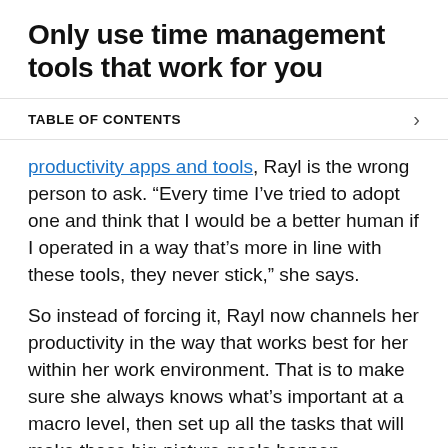Only use time management tools that work for you
TABLE OF CONTENTS
productivity apps and tools, Rayl is the wrong person to ask. “Every time I’ve tried to adopt one and think that I would be a better human if I operated in a way that’s more in line with these tools, they never stick,” she says.
So instead of forcing it, Rayl now channels her productivity in the way that works best for her within her work environment. That is to make sure she always knows what’s important at a macro level, then set up all the tasks that will make those big-picture goals happen.
One tool Rayl does use regularly is Google